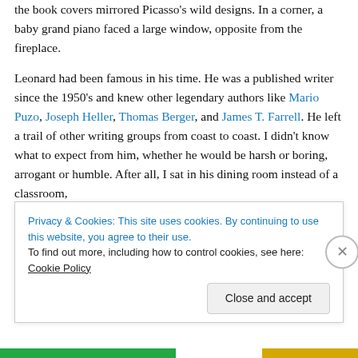the book covers mirrored Picasso's wild designs. In a corner, a baby grand piano faced a large window, opposite from the fireplace.
Leonard had been famous in his time. He was a published writer since the 1950's and knew other legendary authors like Mario Puzo, Joseph Heller, Thomas Berger, and James T. Farrell. He left a trail of other writing groups from coast to coast. I didn't know what to expect from him, whether he would be harsh or boring, arrogant or humble. After all, I sat in his dining room instead of a classroom, and yet, a fragment of people in my Kansas hometown
Privacy & Cookies: This site uses cookies. By continuing to use this website, you agree to their use.
To find out more, including how to control cookies, see here: Cookie Policy
Close and accept